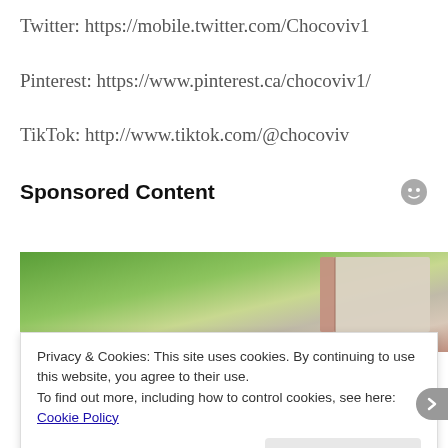Twitter: https://mobile.twitter.com/Chocoviv1
Pinterest: https://www.pinterest.ca/chocoviv1/
TikTok: http://www.tiktok.com/@chocoviv
Sponsored Content
[Figure (photo): Partial view of a book or tablet on a green background]
Privacy & Cookies: This site uses cookies. By continuing to use this website, you agree to their use.
To find out more, including how to control cookies, see here: Cookie Policy
Close and accept